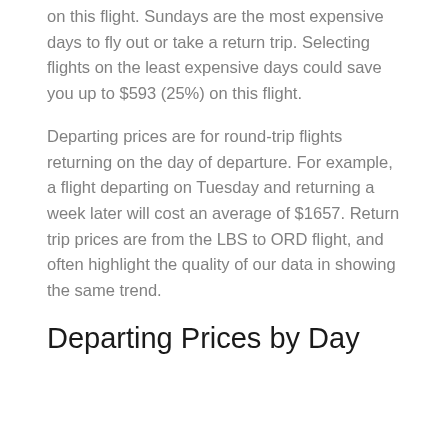on this flight. Sundays are the most expensive days to fly out or take a return trip. Selecting flights on the least expensive days could save you up to $593 (25%) on this flight.
Departing prices are for round-trip flights returning on the day of departure. For example, a flight departing on Tuesday and returning a week later will cost an average of $1657. Return trip prices are from the LBS to ORD flight, and often highlight the quality of our data in showing the same trend.
Departing Prices by Day